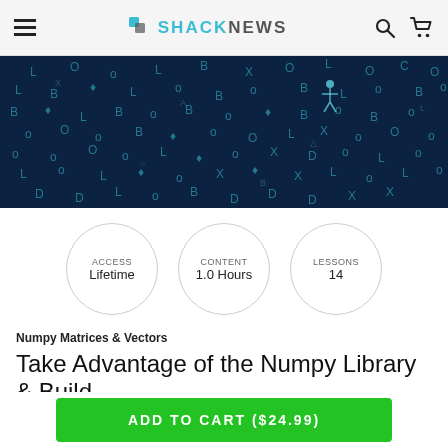SHACKNEWS
[Figure (photo): Dark navy blue background with scattered glowing cyan letters and symbols, resembling a digital/matrix style pattern.]
ACCESS
Lifetime
CONTENT
1.0 Hours
LESSONS
14
Numpy Matrices & Vectors
Take Advantage of the Numpy Library & Build
ADD TO CART ($24.99)